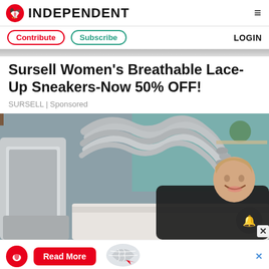INDEPENDENT
Contribute | Subscribe | LOGIN
Sursell Women's Breathable Lace-Up Sneakers-Now 50% OFF!
SURSELL | Sponsored
[Figure (photo): Woman smiling while lying on a medical/beauty treatment table with multiple gray hose attachments from a machine placed on her body, in a clinical setting.]
Read More